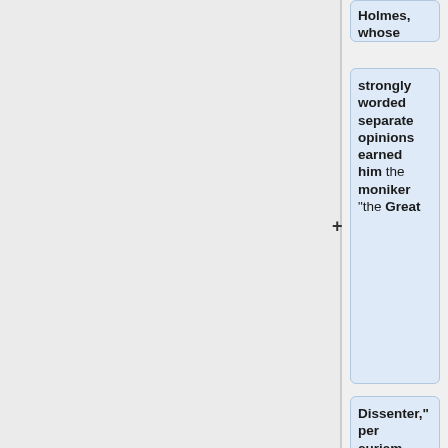Holmes, whose
strongly worded separate opinions earned him the moniker "the Great
Dissenter," per curiam opinions began to feature dissents... The per curiam
not only allowed the Court to quickly adjudicate these more
substantive cases but also